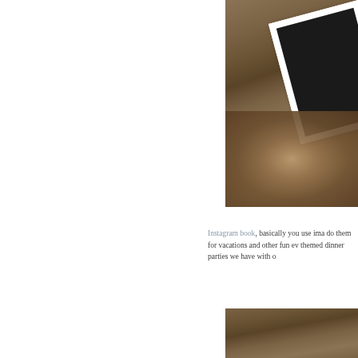[Figure (photo): Photo of a white-framed chalkboard tablet lying on a rustic wooden surface with fur or textile beneath it, top portion of the page on the right side]
Instagram book, basically you use ima do them for vacations and other fun ev themed dinner parties we have with o
[Figure (photo): Bottom portion of a photo showing a rustic wooden background, partially cropped]